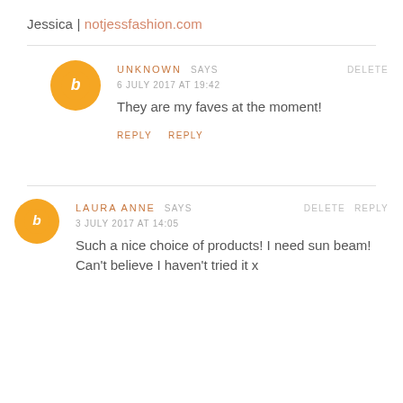Jessica | notjessfashion.com
UNKNOWN SAYS
6 JULY 2017 AT 19:42
They are my faves at the moment!
REPLY REPLY
LAURA ANNE SAYS
3 JULY 2017 AT 14:05
Such a nice choice of products! I need sun beam! Can't believe I haven't tried it x